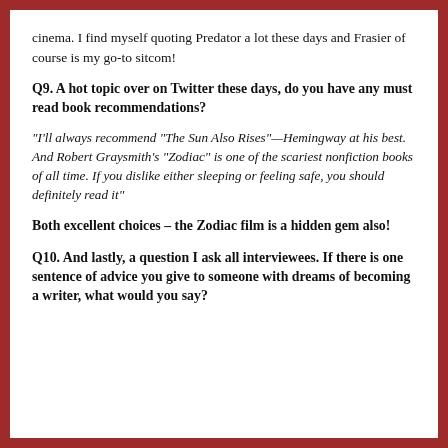cinema. I find myself quoting Predator a lot these days and Frasier of course is my go-to sitcom!
Q9. A hot topic over on Twitter these days, do you have any must read book recommendations?
“I’ll always recommend “The Sun Also Rises”—Hemingway at his best. And Robert Graysmith’s “Zodiac” is one of the scariest nonfiction books of all time. If you dislike either sleeping or feeling safe, you should definitely read it”
Both excellent choices – the Zodiac film is a hidden gem also!
Q10. And lastly, a question I ask all interviewees. If there is one sentence of advice you give to someone with dreams of becoming a writer, what would you say?